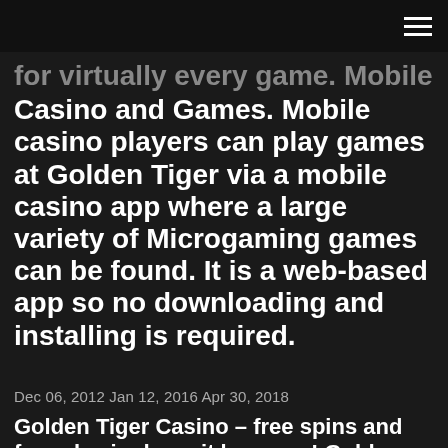≡
for virtually every game. Mobile Casino and Games. Mobile casino players can play games at Golden Tiger via a mobile casino app where a large variety of Microgaming games can be found. It is a web-based app so no downloading and installing is required.
Dec 06, 2012  Jan 12, 2016  Apr 30, 2018
Golden Tiger Casino – free spins and free play in deposit bonuses! Golden Tiger Casino was created in 2001 and was